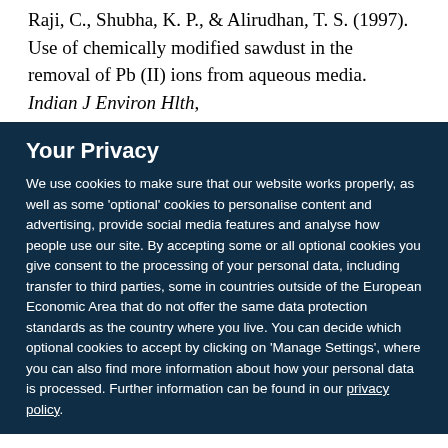Raji, C., Shubha, K. P., & Alirudhan, T. S. (1997). Use of chemically modified sawdust in the removal of Pb (II) ions from aqueous media. Indian J Environ Hlth,
Your Privacy
We use cookies to make sure that our website works properly, as well as some 'optional' cookies to personalise content and advertising, provide social media features and analyse how people use our site. By accepting some or all optional cookies you give consent to the processing of your personal data, including transfer to third parties, some in countries outside of the European Economic Area that do not offer the same data protection standards as the country where you live. You can decide which optional cookies to accept by clicking on 'Manage Settings', where you can also find more information about how your personal data is processed. Further information can be found in our privacy policy.
Accept all cookies
Manage preferences